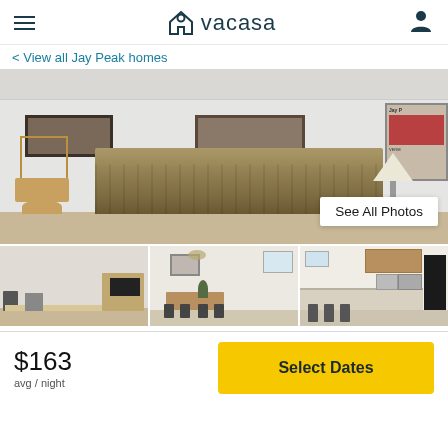vacasa
< View all Jay Peak homes
[Figure (photo): Interior living room photo of a Jay Peak vacation rental showing rocking chairs, a plaid sofa, framed pictures on walls, and a floor lamp. A 'See All Photos' button overlay is visible in the lower right.]
[Figure (photo): Interior photo showing a living room with entertainment center and dining area]
[Figure (photo): Interior photo showing a dining area with table and chairs]
[Figure (photo): Interior photo showing a kitchen with countertop island, cabinets, and black refrigerator]
$163
avg / night
Select Dates